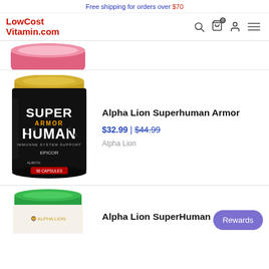Free shipping for orders over $70
[Figure (logo): LowCostVitamin.com logo in red bold text with search, cart, user, and hamburger menu icons]
[Figure (photo): Partial view of a pink supplement container lid at the top]
[Figure (photo): Alpha Lion Superhuman Armor supplement container - black label with gold lid showing SUPER HUMAN ARMOR text, EpiCor, Albion and other ingredient logos, 90 capsules]
Alpha Lion Superhuman Armor
$32.99 | $44.99
Alpha Lion
[Figure (photo): Partial view of a green-lidded Alpha Lion supplement container at the bottom]
Alpha Lion SuperHuman